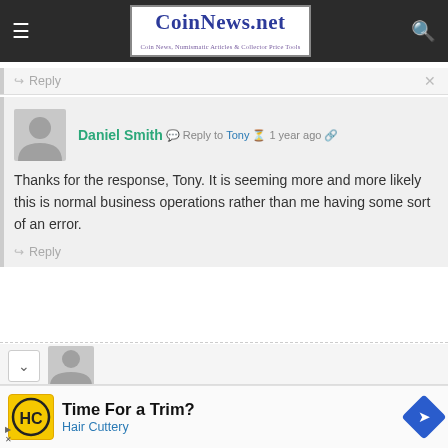CoinNews.net — Coin News, Numismatic Articles & Collector Price Tools
Reply
[Figure (screenshot): User avatar placeholder — grey silhouette icon]
Daniel Smith  Reply to  Tony  1 year ago
Thanks for the response, Tony. It is seeming more and more likely this is normal business operations rather than me having some sort of an error.
Reply
[Figure (screenshot): User avatar placeholder — grey silhouette icon, partially visible next comment]
[Figure (advertisement): Ad banner: Time For a Trim? Hair Cuttery with HC logo and directional sign icon]